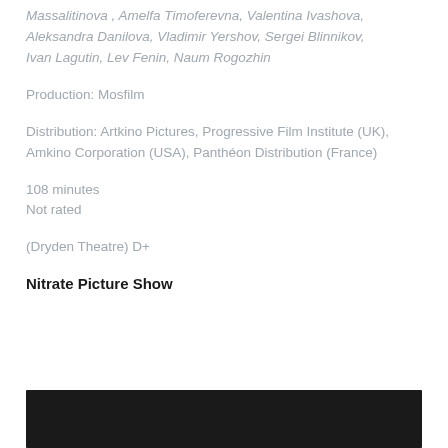Massalitinova , Amelfa Timoferevna, Valentina Ivashova, Aleksandra Danilova, Vladimir Yershov, Sergei Blinnikov, Ivan Lagutin, Lev Fenin, Naum Rogozhin
Production: Mosfilm
Distribution: Artkino Pictures, Progressive Film Institute (UK), Amkino Corporation (USA), Panthéon Distribution (France)
108 minutes
Not rated
(Dryden Theatre) D+
Nitrate Picture Show
[Figure (photo): Dark/black rectangular image area at the bottom of the page]